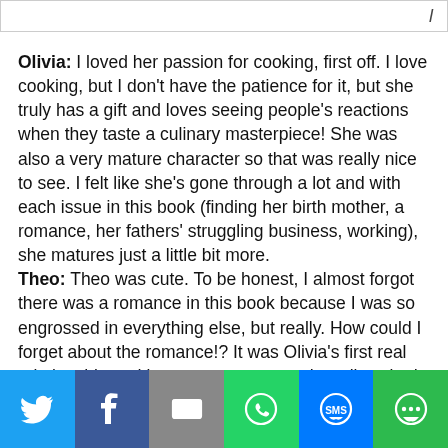Olivia: I loved her passion for cooking, first off. I love cooking, but I don't have the patience for it, but she truly has a gift and loves seeing people's reactions when they taste a culinary masterpiece! She was also a very mature character so that was really nice to see. I felt like she's gone through a lot and with each issue in this book (finding her birth mother, a romance, her fathers' struggling business, working), she matures just a little bit more.
Theo: Theo was cute. To be honest, I almost forgot there was a romance in this book because I was so engrossed in everything else, but really. How could I forget about the romance!? It was Olivia's first real relationship and it was so cute to see her all excited over Theo. He had some awesome spontaneity and adorable date ideas.
Social share bar: Twitter, Facebook, Email, WhatsApp, SMS, More